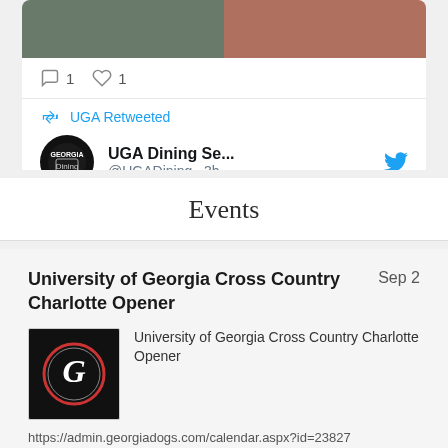[Figure (screenshot): Two food photos side by side in a tweet card]
1  1
UGA Retweeted
UGA Dining Se...
@UGADining · 3h
Events
University of Georgia Cross Country Charlotte Opener
Sep 2
[Figure (logo): University of Georgia G logo on black background]
University of Georgia Cross Country Charlotte Opener
https://admin.georgiadogs.com/calendar.aspx?id=23827
Location:  Charlotte, N.C.